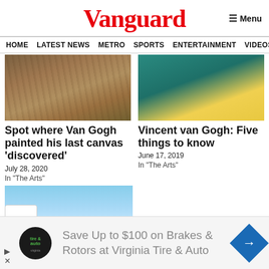Vanguard
Menu
HOME  LATEST NEWS  METRO  SPORTS  ENTERTAINMENT  VIDEOS
[Figure (photo): Van Gogh self-portrait painting]
Spot where Van Gogh painted his last canvas 'discovered'
July 28, 2020
In "The Arts"
[Figure (photo): Actor portraying Vincent van Gogh]
Vincent van Gogh: Five things to know
June 17, 2019
In "The Arts"
[Figure (photo): Close-up of man's face on blue background]
Save Up to $100 on Brakes & Rotors at Virginia Tire & Auto